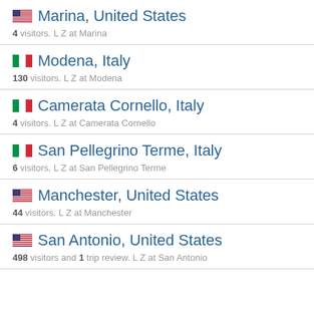Marina, United States — 4 visitors. L Z at Marina
Modena, Italy — 130 visitors. L Z at Modena
Camerata Cornello, Italy — 4 visitors. L Z at Camerata Cornello
San Pellegrino Terme, Italy — 6 visitors. L Z at San Pellegrino Terme
Manchester, United States — 44 visitors. L Z at Manchester
San Antonio, United States — 498 visitors and 1 trip review. L Z at San Antonio